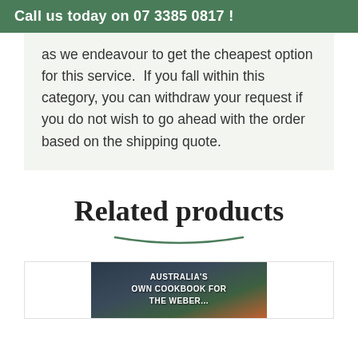Call us today on 07 3385 0817 !
as we endeavour to get the cheapest option for this service.  If you fall within this category, you can withdraw your request if you do not wish to go ahead with the order based on the shipping quote.
Related products
[Figure (photo): Book cover showing 'Australia's Own Cookbook for The Weber' with food and grill imagery]